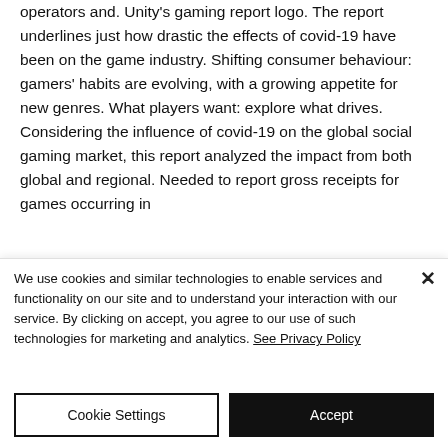operators and. Unity's gaming report logo. The report underlines just how drastic the effects of covid-19 have been on the game industry. Shifting consumer behaviour: gamers' habits are evolving, with a growing appetite for new genres. What players want: explore what drives. Considering the influence of covid-19 on the global social gaming market, this report analyzed the impact from both global and regional. Needed to report gross receipts for games occurring in
We use cookies and similar technologies to enable services and functionality on our site and to understand your interaction with our service. By clicking on accept, you agree to our use of such technologies for marketing and analytics. See Privacy Policy